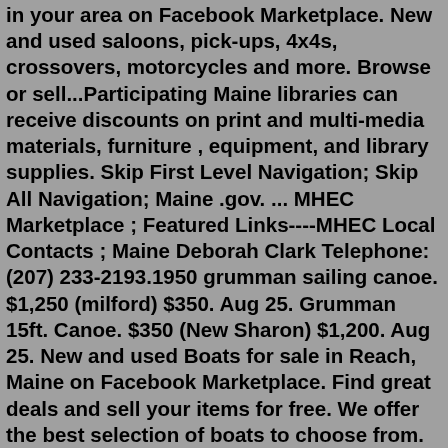in your area on Facebook Marketplace. New and used saloons, pick-ups, 4x4s, crossovers, motorcycles and more. Browse or sell...Participating Maine libraries can receive discounts on print and multi-media materials, furniture , equipment, and library supplies. Skip First Level Navigation; Skip All Navigation; Maine .gov. ... MHEC Marketplace ; Featured Links----MHEC Local Contacts ; Maine Deborah Clark Telephone: (207) 233-2193.1950 grumman sailing canoe. $1,250 (milford) $350. Aug 25. Grumman 15ft. Canoe. $350 (New Sharon) $1,200. Aug 25. New and used Boats for sale in Reach, Maine on Facebook Marketplace. Find great deals and sell your items for free. We offer the best selection of boats to choose from. Used boats for sale . ... Louisiana Boats (305)Maine Boats (50)Maryland Boats ... Facebook. Twitter. 1990 Gregor Welded 14 Aluminum fishing Boat, Full size trailer, 25HP Mercury. $5,500.00. Local Pickup. or Best Offer. Facebook Marketplace Portland Oregon Boat LoginAsk is here to help you access Facebook Marketplace Portland Oregon Boat